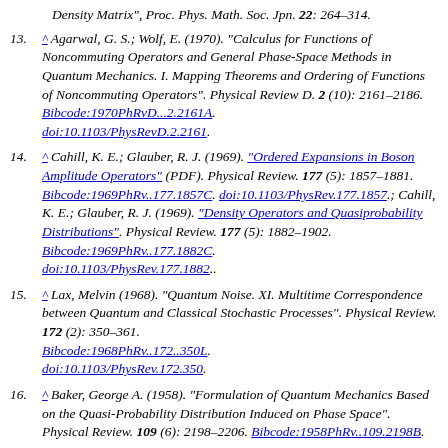(continuation) Density Matrix", Proc. Phys. Math. Soc. Jpn. 22: 264–314.
13. ^ Agarwal, G. S.; Wolf, E. (1970). "Calculus for Functions of Noncommuting Operators and General Phase-Space Methods in Quantum Mechanics. I. Mapping Theorems and Ordering of Functions of Noncommuting Operators". Physical Review D. 2 (10): 2161–2186. Bibcode:1970PhRvD...2.2161A. doi:10.1103/PhysRevD.2.2161.
14. ^ Cahill, K. E.; Glauber, R. J. (1969). "Ordered Expansions in Boson Amplitude Operators" (PDF). Physical Review. 177 (5): 1857–1881. Bibcode:1969PhRv..177.1857C. doi:10.1103/PhysRev.177.1857.; Cahill, K. E.; Glauber, R. J. (1969). "Density Operators and Quasiprobability Distributions". Physical Review. 177 (5): 1882–1902. Bibcode:1969PhRv..177.1882C. doi:10.1103/PhysRev.177.1882..
15. ^ Lax, Melvin (1968). "Quantum Noise. XI. Multitime Correspondence between Quantum and Classical Stochastic Processes". Physical Review. 172 (2): 350–361. Bibcode:1968PhRv..172..350L. doi:10.1103/PhysRev.172.350.
16. ^ Baker, George A. (1958). "Formulation of Quantum Mechanics Based on the Quasi-Probability Distribution Induced on Phase Space". Physical Review. 109 (6): 2198–2206. Bibcode:1958PhRv..109.2198B.